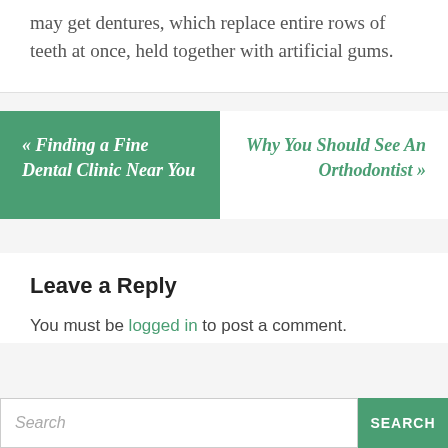may get dentures, which replace entire rows of teeth at once, held together with artificial gums.
« Finding a Fine Dental Clinic Near You
Why You Should See An Orthodontist »
Leave a Reply
You must be logged in to post a comment.
Search